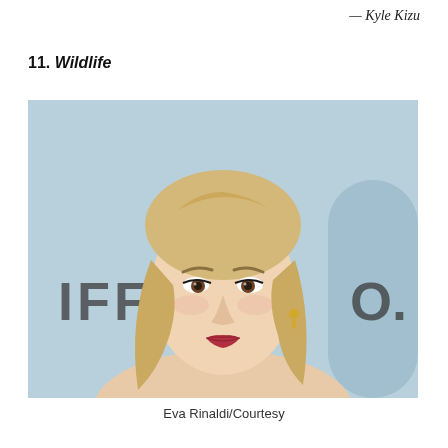— Kyle Kizu
11. Wildlife
[Figure (photo): Portrait photo of a blonde woman with shoulder-length wavy hair, wearing no visible top, standing in front of a light blue backdrop with partial text 'IFFA' and 'O.' visible. She has dark eye makeup, dangling earrings, and red lips.]
Eva Rinaldi/Courtesy